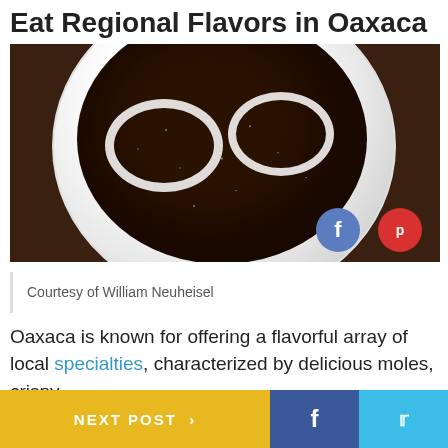Eat Regional Flavors in Oaxaca
[Figure (photo): A white plate with dark mole sauce over meat, topped with two white onion rings and sesame seeds. Social share buttons (Facebook and Pinterest) visible in bottom-right corner of photo.]
Courtesy of William Neuheisel
Oaxaca is known for offering a flavorful array of local specialties, characterized by delicious moles, crispy
NEXT POST > f (Twitter bird) ...